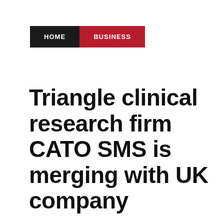HOME | BUSINESS
Triangle clinical research firm CATO SMS is merging with UK company